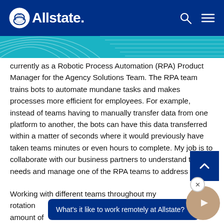Allstate
currently as a Robotic Process Automation (RPA) Product Manager for the Agency Solutions Team. The RPA team trains bots to automate mundane tasks and makes processes more efficient for employees. For example, instead of teams having to manually transfer data from one platform to another, the bots can have this data transferred within a matter of seconds where it would previously have taken teams minutes or even hours to complete. My job is to collaborate with our business partners to understand their needs and manage one of the RPA teams to address them.
Working with different teams throughout my rotation... at Allstate because I get to see the amount of
What's it like to work remotely at Allstate?